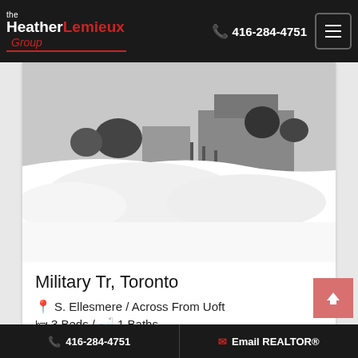Heather Lemieux Group | 416-284-4751
[Figure (photo): Exterior photo of property at Military Tr, Toronto, covered in heavy snow with shrubs and structure visible in background]
Military Tr, Toronto
S. Ellesmere / Across From Uoft
3 Beds / 1 Baths
REPRESENTED SELLER
[Figure (photo): Partial view of another property listing photo with SOLD banner visible]
416-284-4751 | Email REALTOR®